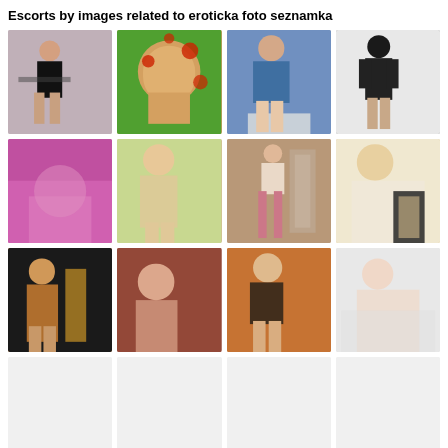Escorts by images related to eroticka foto seznamka
[Figure (photo): Woman in black outfit posing with chair]
[Figure (photo): Woman with blonde hair and floral background]
[Figure (photo): Woman in blue bikini taking selfie]
[Figure (photo): Woman in dark patterned outfit standing]
[Figure (photo): Close-up of woman in pink lingerie]
[Figure (photo): Woman in pink outfit standing outdoors]
[Figure (photo): Woman trying on clothes near rack]
[Figure (photo): Blonde woman on bed in black lingerie]
[Figure (photo): Woman with tattoos in dim light]
[Figure (photo): Young woman lying on couch]
[Figure (photo): Woman in black bikini taking mirror selfie]
[Figure (photo): Woman posing nude in white setting]
[Figure (photo): Empty placeholder thumbnail]
[Figure (photo): Empty placeholder thumbnail]
[Figure (photo): Empty placeholder thumbnail]
[Figure (photo): Empty placeholder thumbnail]